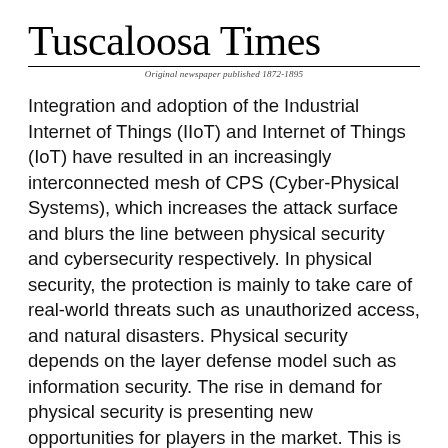Tuscaloosa Times
Original newspaper published 1872-1895
Integration and adoption of the Industrial Internet of Things (IIoT) and Internet of Things (IoT) have resulted in an increasingly interconnected mesh of CPS (Cyber-Physical Systems), which increases the attack surface and blurs the line between physical security and cybersecurity respectively. In physical security, the protection is mainly to take care of real-world threats such as unauthorized access, and natural disasters. Physical security depends on the layer defense model such as information security. The rise in demand for physical security is presenting new opportunities for players in the market. This is anticipated to fuel the physical security market.
Physical Security Market: Prominent Regions